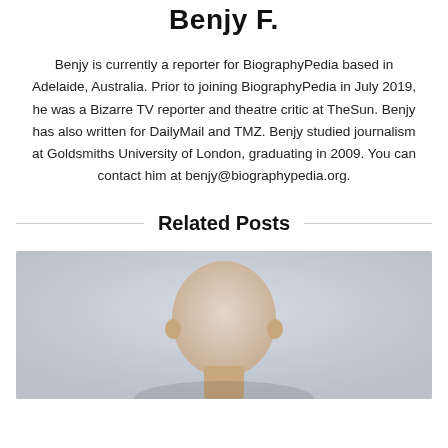Benjy F.
Benjy is currently a reporter for BiographyPedia based in Adelaide, Australia. Prior to joining BiographyPedia in July 2019, he was a Bizarre TV reporter and theatre critic at TheSun. Benjy has also written for DailyMail and TMZ. Benjy studied journalism at Goldsmiths University of London, graduating in 2009. You can contact him at benjy@biographypedia.org.
Related Posts
[Figure (photo): A photo of a person with a bald or shaved head against a light blueish-gray background, showing the head and upper body.]